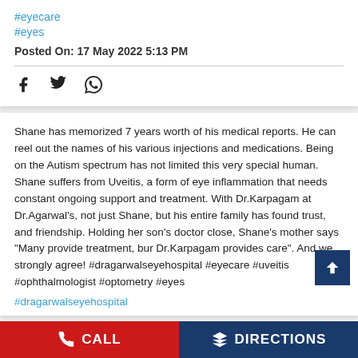#eyecare
#eyes
Posted On: 17 May 2022 5:13 PM
[Figure (other): Social share icons: Facebook, Twitter, WhatsApp]
Shane has memorized 7 years worth of his medical reports. He can reel out the names of his various injections and medications. Being on the Autism spectrum has not limited this very special human. Shane suffers from Uveitis, a form of eye inflammation that needs constant ongoing support and treatment. With Dr.Karpagam at Dr.Agarwal's, not just Shane, but his entire family has found trust, and friendship. Holding her son's doctor close, Shane's mother says "Many provide treatment, bur Dr.Karpagam provides care". And we strongly agree! #dragarwalseyehospital #eyecare #uveitis #ophthalmologist #optometry #eyes
#dragarwalseyehospital